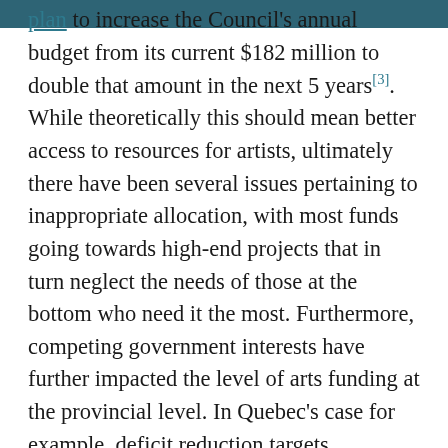plan to increase the Council's annual budget from its current $182 million to double that amount in the next 5 years[3]. While theoretically this should mean better access to resources for artists, ultimately there have been several issues pertaining to inappropriate allocation, with most funds going towards high-end projects that in turn neglect the needs of those at the bottom who need it the most. Furthermore, competing government interests have further impacted the level of arts funding at the provincial level. In Quebec's case for example, deficit reduction targets contributed to a significant $2.5 million budgetary cut from their home base arts program, the Quebec Arts and Letters Council[4].